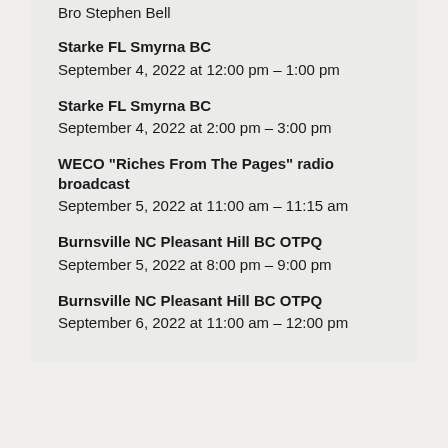Bro Stephen Bell
Starke FL Smyrna BC
September 4, 2022 at 12:00 pm – 1:00 pm
Starke FL Smyrna BC
September 4, 2022 at 2:00 pm – 3:00 pm
WECO "Riches From The Pages" radio broadcast
September 5, 2022 at 11:00 am – 11:15 am
Burnsville NC Pleasant Hill BC OTPQ
September 5, 2022 at 8:00 pm – 9:00 pm
Burnsville NC Pleasant Hill BC OTPQ
September 6, 2022 at 11:00 am – 12:00 pm